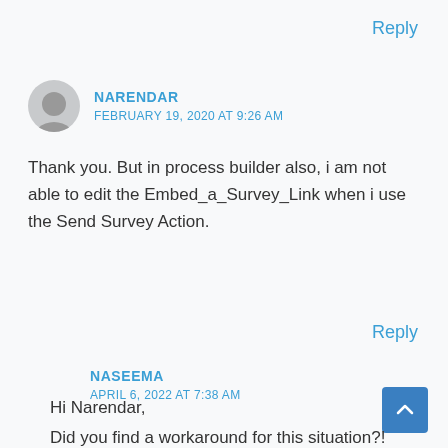Reply
NARENDAR
FEBRUARY 19, 2020 AT 9:26 AM
Thank you. But in process builder also, i am not able to edit the Embed_a_Survey_Link when i use the Send Survey Action.
Reply
NASEEMA
APRIL 6, 2022 AT 7:38 AM
Hi Narendar,
Did you find a workaround for this situation?!